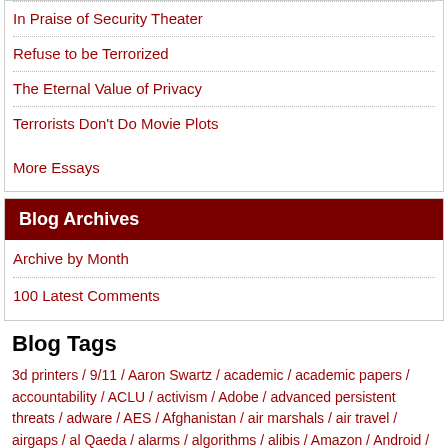In Praise of Security Theater
Refuse to be Terrorized
The Eternal Value of Privacy
Terrorists Don't Do Movie Plots
More Essays
Blog Archives
Archive by Month
100 Latest Comments
Blog Tags
3d printers / 9/11 / Aaron Swartz / academic / academic papers / accountability / ACLU / activism / Adobe / advanced persistent threats / adware / AES / Afghanistan / air marshals / air travel / airgaps / al Qaeda / alarms / algorithms / alibis / Amazon / Android / anonymity / Anonymous / antivirus / Apache / Apple / Applied Cryptography / artificial intelligence / assassinations